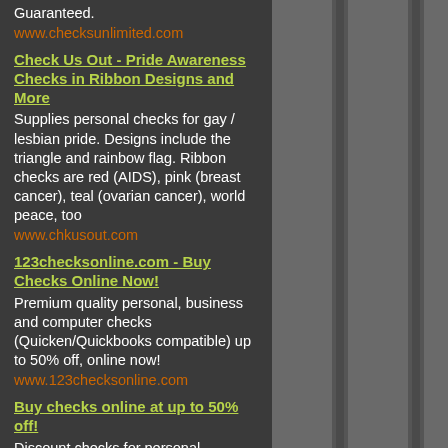Guaranteed.
www.checksunlimited.com
Check Us Out - Pride Awareness Checks in Ribbon Designs and More
Supplies personal checks for gay / lesbian pride. Designs include the triangle and rainbow flag. Ribbon checks are red (AIDS), pink (breast cancer), teal (ovarian cancer), world peace, too
www.chkusout.com
123checksonline.com - Buy Checks Online Now!
Premium quality personal, business and computer checks (Quicken/Quickbooks compatible) up to 50% off, online now!
www.123checksonline.com
Buy checks online at up to 50% off!
Discount checks for personal, business, and computer use. Envelopes, deposit slips, and endorsement stamps also available. Simple, straight-forward ordering with discount prices!
www.123checksonline.com
Buy Checks At Checksunlimited.com